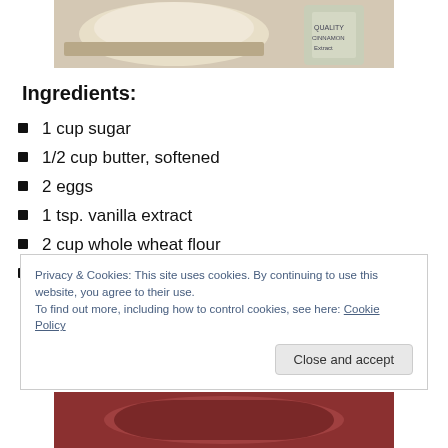[Figure (photo): Top portion of a photo showing measuring cups with flour and a jar of spice on a light surface]
Ingredients:
1 cup sugar
1/2 cup butter, softened
2 eggs
1 tsp. vanilla extract
2 cup whole wheat flour
1 1/2 tsp. baking powder
Privacy & Cookies: This site uses cookies. By continuing to use this website, you agree to their use.
To find out more, including how to control cookies, see here: Cookie Policy
[Figure (photo): Bottom portion of a photo showing a bowl with ingredients]